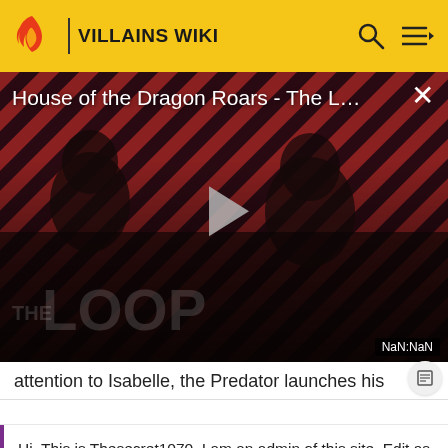VILLAINS WIKI
[Figure (screenshot): Video player thumbnail for 'House of the Dragon Roars - The L...' showing two dark silhouetted figures against a diagonal red and black striped background with THE LOOP text overlay and a play button. Timer shows NaN:NaN.]
attention to Isabelle, the Predator launches his
Hi. This is Thesecret1070. I am an admin of this site. Edit as much as you wish, but one little thing... If you are going to edit a lot, then make yourself a user and login. Other than that, enjoy Villains Wiki!!!